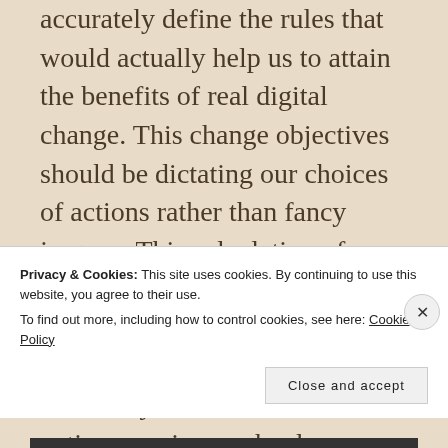accurately define the rules that would actually help us to attain the benefits of real digital change. This change objectives should be dictating our choices of actions rather than fancy jargons. This calculation of utilitarianism is very important as consequences of new technology adoption, are inherently unknowable. This entire exercise can be done on
Privacy & Cookies: This site uses cookies. By continuing to use this website, you agree to their use.
To find out more, including how to control cookies, see here: Cookie Policy
Close and accept